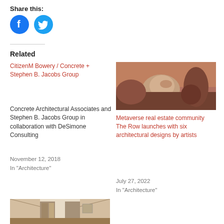Share this:
[Figure (illustration): Facebook share button (blue circle with white 'f' icon) and Twitter share button (blue circle with white bird icon)]
Related
CitizenM Bowery / Concrete + Stephen B. Jacobs Group
Concrete Architectural Associates and Stephen B. Jacobs Group in collaboration with DeSimone Consulting
November 12, 2018
In "Architecture"
[Figure (photo): Abstract sculpture or face-like rock formation in earthy tones with reddish sky background]
Metaverse real estate community The Row launches with six architectural designs by artists
July 27, 2022
In "Architecture"
[Figure (photo): Interior architectural photo showing a room with large curved doors and art on the wall]